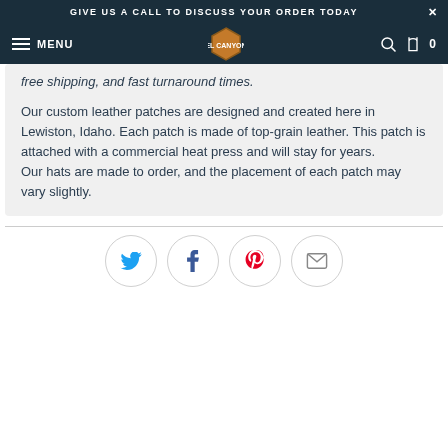GIVE US A CALL TO DISCUSS YOUR ORDER TODAY
[Figure (screenshot): Website navigation bar with hamburger menu, MENU text, hexagonal logo, search icon, bag icon, and cart count 0]
free shipping, and fast turnaround times.
Our custom leather patches are designed and created here in Lewiston, Idaho. Each patch is made of top-grain leather. This patch is attached with a commercial heat press and will stay for years.
Our hats are made to order, and the placement of each patch may vary slightly.
[Figure (infographic): Four social share buttons in circles: Twitter (blue bird), Facebook (dark f), Pinterest (red P), Email (envelope)]